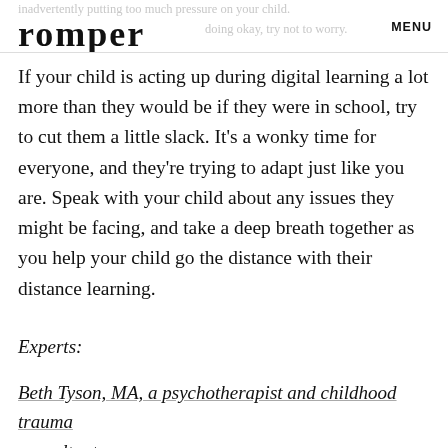inadvertently putting too much pressure on your child. romper doing okay, try not to worry. MENU
If your child is acting up during digital learning a lot more than they would be if they were in school, try to cut them a little slack. It's a wonky time for everyone, and they're trying to adapt just like you are. Speak with your child about any issues they might be facing, and take a deep breath together as you help your child go the distance with their distance learning.
Experts:
Beth Tyson, MA, a psychotherapist and childhood trauma consultant